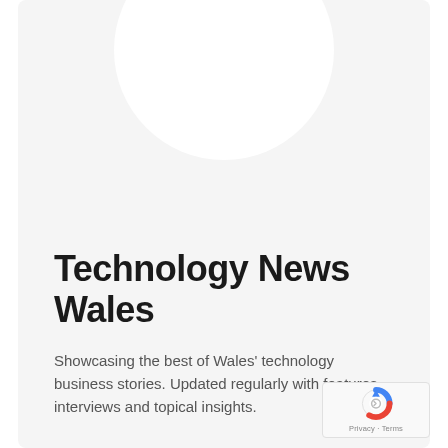Technology News Wales
Showcasing the best of Wales' technology business stories. Updated regularly with features, interviews and topical insights.
[Figure (logo): reCAPTCHA badge with logo and Privacy · Terms text]